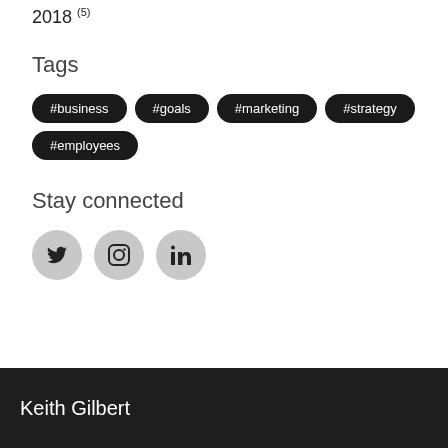2018 (5)
Tags
#business
#goals
#marketing
#strategy
#employees
Stay connected
[Figure (other): Social media icons: Twitter, Instagram, LinkedIn as circular grey buttons]
Keith Gilbert